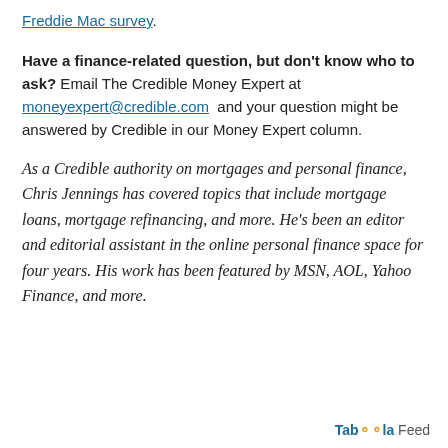Freddie Mac survey.
Have a finance-related question, but don't know who to ask? Email The Credible Money Expert at moneyexpert@credible.com and your question might be answered by Credible in our Money Expert column.
As a Credible authority on mortgages and personal finance, Chris Jennings has covered topics that include mortgage loans, mortgage refinancing, and more. He's been an editor and editorial assistant in the online personal finance space for four years. His work has been featured by MSN, AOL, Yahoo Finance, and more.
Taboola Feed